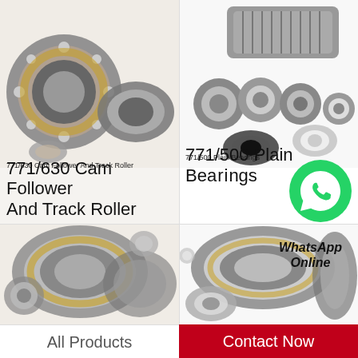[Figure (photo): Multiple ball bearings and tapered roller bearings arranged together, metallic silver/gold tones on beige background]
771/630  Cam Follower And Track Roller
771/630  Cam Follower And Track Roller
[Figure (photo): Multiple plain bearings and rings of various sizes arranged together, silver metallic tones on white background]
771/500  Plain Bearings
771/500  Plain Bearings
[Figure (photo): WhatsApp logo circle icon with text 'WhatsApp Online']
WhatsApp Online
[Figure (photo): Angular contact ball bearings and other bearing types arranged, silver/gold metallic tones]
[Figure (photo): Assorted bearings including cylindrical roller bearings, silver/gold metallic tones on white background]
All Products
Contact Now